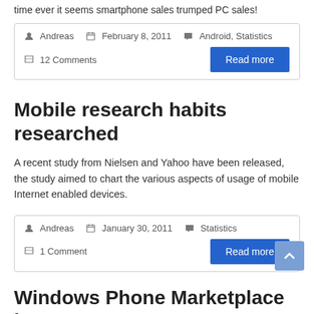time ever it seems smartphone sales trumped PC sales!
Andreas  February 8, 2011  Android, Statistics  12 Comments
Mobile research habits researched
A recent study from Nielsen and Yahoo have been released, the study aimed to chart the various aspects of usage of mobile Internet enabled devices.
Andreas  January 30, 2011  Statistics  1 Comment
Windows Phone Marketplace keeps